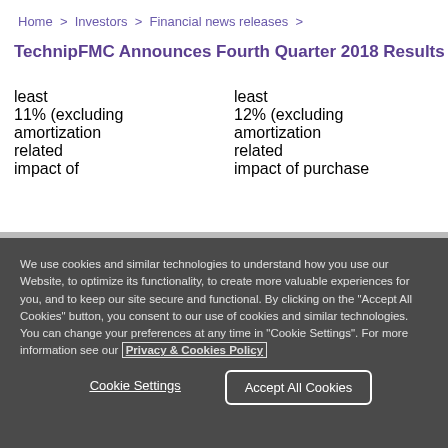Home > Investors > Financial news releases >
TechnipFMC Announces Fourth Quarter 2018 Results
least
11% (excluding
amortization
related
impact of
least
12% (excluding
amortization
related
impact of purchase
We use cookies and similar technologies to understand how you use our Website, to optimize its functionality, to create more valuable experiences for you, and to keep our site secure and functional. By clicking on the "Accept All Cookies" button, you consent to our use of cookies and similar technologies. You can change your preferences at any time in "Cookie Settings". For more information see our Privacy & Cookies Policy
Cookie Settings
Accept All Cookies